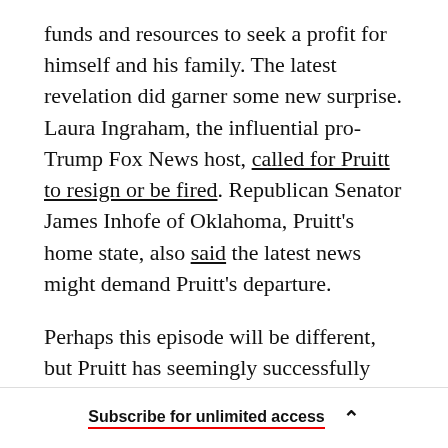funds and resources to seek a profit for himself and his family. The latest revelation did garner some new surprise. Laura Ingraham, the influential pro-Trump Fox News host, called for Pruitt to resign or be fired. Republican Senator James Inhofe of Oklahoma, Pruitt's home state, also said the latest news might demand Pruitt's departure.
Perhaps this episode will be different, but Pruitt has seemingly successfully adopted the model that worked for his boss, President Trump: When everything is a scandal, nothing is a scandal. There are so many stories of corruption and abuse of
Subscribe for unlimited access